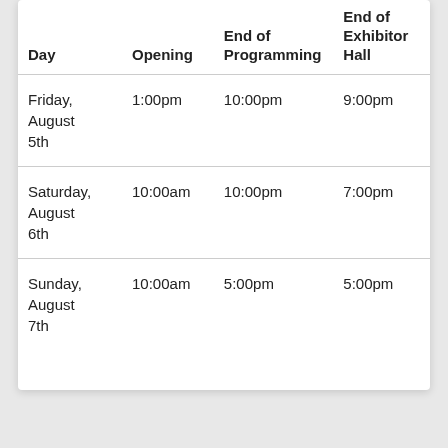| Day | Opening | End of Programming | End of Exhibitor Hall |
| --- | --- | --- | --- |
| Friday, August 5th | 1:00pm | 10:00pm | 9:00pm |
| Saturday, August 6th | 10:00am | 10:00pm | 7:00pm |
| Sunday, August 7th | 10:00am | 5:00pm | 5:00pm |